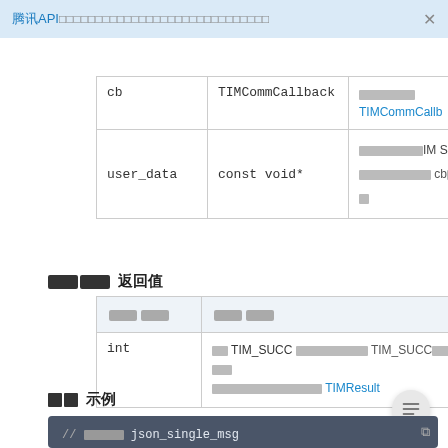腾讯API文档 - 即时通信...（标题省略）
| 参数名 | 参数类型 | 说明 |
| --- | --- | --- |
| cb | TIMCommCallback | （灰色块）TIMCommCallb... |
| user_data | const void* | （灰色块）IM S... （灰色块）cb（灰色块） |
返回值
| 类型 | 说明 |
| --- | --- |
| int | 返TIM_SUCC 表示...TIM_SUCC... cb ...TIMResult |
示例
[Figure (screenshot): Code block showing // 获取json_single_msg comment]